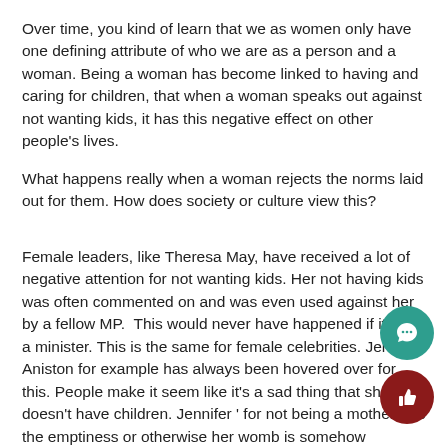Over time, you kind of learn that we as women only have one defining attribute of who we are as a person and a woman. Being a woman has become linked to having and caring for children, that when a woman speaks out against not wanting kids, it has this negative effect on other people's lives.
What happens really when a woman rejects the norms laid out for them. How does society or culture view this?
Female leaders, like Theresa May, have received a lot of negative attention for not wanting kids. Her not having kids was often commented on and was even used against her by a fellow MP.  This would never have happened if it was a minister. This is the same for female celebrities. Jennifer Aniston for example has always been hovered over for this. People make it seem like it's a sad thing that she doesn't have children. Jennifer ' for not being a mother, like the emptiness or otherwise her womb is somehow supposed to be the rea for her happiness.